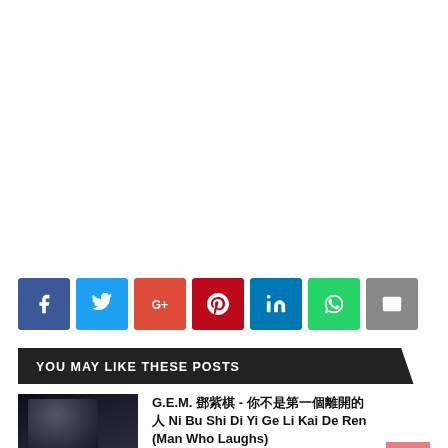[Figure (other): Blank white space (advertisement or embedded media area)]
Share buttons: Facebook, Twitter, Google+, Pinterest, LinkedIn, WhatsApp, Email
YOU MAY LIKE THESE POSTS
[Figure (photo): Thumbnail image of G.E.M. album art, dark moody photo of a woman]
G.E.M. 鄧紫棋 - 你不是第一個離開的人 Ni Bu Shi Di Yi Ge Li Kai De Ren (Man Who Laughs)
August 19, 2022